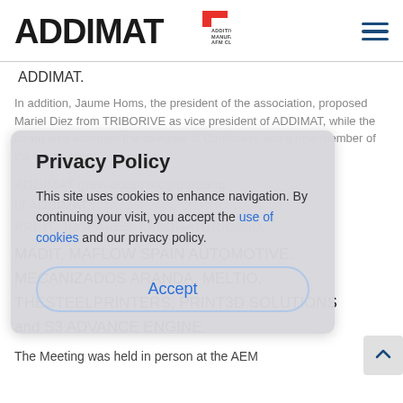ADDIMAT — Additive Manufacturing AFM Cluster
ADDIMAT.
In addition, Jaume Homs, the president of the association, proposed Mariel Diez from TRIBORIVE as vice president of ADDIMAT, while the board also accepted the delegate of Confebask and a new member of the association.
Privacy Policy — This site uses cookies to enhance navigation. By continuing your visit, you accept the use of cookies and our privacy policy. Accept
ADDIMAT grew again incorporating of ADDIMAT, PRINT, 3DSPARES, LABORATORIOS3D, MADIT, MAFLOW SPAIN AUTOMOTIVE, MECANIZADOS ARANDA, MELTIO, THESTEELPRINTERS, PRINT3D SOLUTIONS and S3 ADVANCE ENGINE.
The Meeting was held in person at the AEM